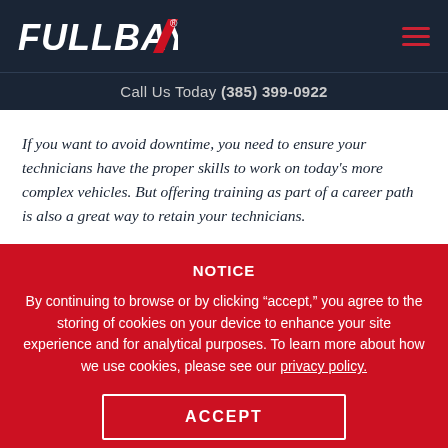[Figure (logo): Fullbay logo in white italic bold text with red slash/chevron mark on dark navy background, with hamburger menu icon on the right]
Call Us Today (385) 399-0922
If you want to avoid downtime, you need to ensure your technicians have the proper skills to work on today's more complex vehicles. But offering training as part of a career path is also a great way to retain your technicians.
NOTICE
By continuing to browse or by clicking “accept,” you agree to the storing of cookies on your device to enhance your site experience and for analytical purposes. To learn more about how we use cookies, please see our privacy policy.
ACCEPT